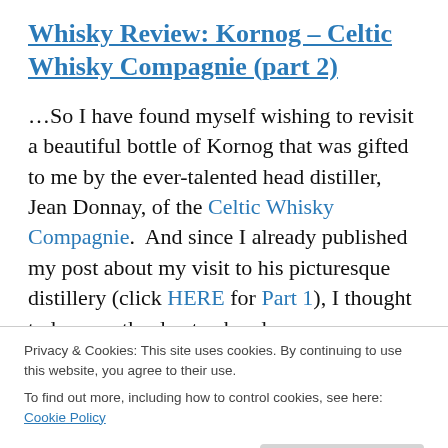Whisky Review: Kornog – Celtic Whisky Compagnie (part 2)
…So I have found myself wishing to revisit a beautiful bottle of Kornog that was gifted to me by the ever-talented head distiller, Jean Donnay, of the Celtic Whisky Compagnie.  And since I already published my post about my visit to his picturesque distillery (click HERE for Part 1), I thought today was the day to abandon my carrot+kale+celery concoction and reunite myself with my trusty Glencarin glass.  Here it goes!     read on
Privacy & Cookies: This site uses cookies. By continuing to use this website, you agree to their use.
To find out more, including how to control cookies, see here: Cookie Policy
up for dinner at one of my favorite restaurants, Joseph